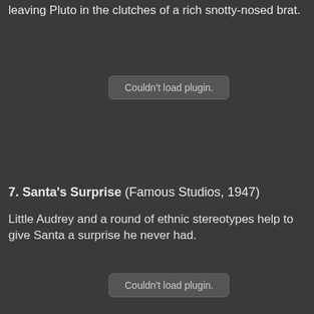leaving Pluto in the clutches of a rich snotty-nosed brat.
[Figure (other): Couldn't load plugin. placeholder box]
7. Santa's Surprise (Famous Studios, 1947)
Little Audrey and a round of ethnic stereotypes help to give Santa a surprise he never had.
[Figure (other): Couldn't load plugin. placeholder box]